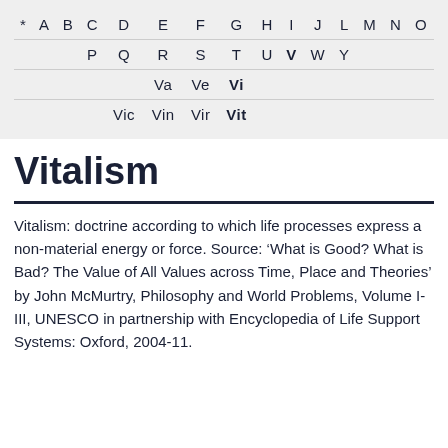| * | A | B | C | D | E | F | G | H | I | J | L | M | N | O |
|  |  | P | Q | R | S | T | U | V (bold) | W | Y |  |  |  |  |
|  |  |  |  | Va | Ve | Vi (bold) |  |  |  |  |  |  |  |  |
|  |  |  | Vic | Vin | Vir | Vit (bold) |  |  |  |  |  |  |  |  |
Vitalism
Vitalism: doctrine according to which life processes express a non-material energy or force. Source: ‘What is Good? What is Bad? The Value of All Values across Time, Place and Theories’ by John McMurtry, Philosophy and World Problems, Volume I-III, UNESCO in partnership with Encyclopedia of Life Support Systems: Oxford, 2004-11.